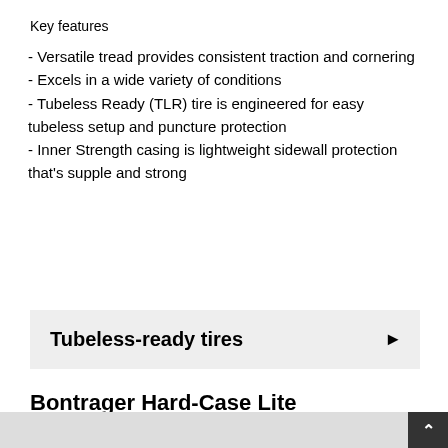Key features
- Versatile tread provides consistent traction and cornering
- Excels in a wide variety of conditions
- Tubeless Ready (TLR) tire is engineered for easy tubeless setup and puncture protection
- Inner Strength casing is lightweight sidewall protection that's supple and strong
Tubeless-ready tires
Bontrager Hard-Case Lite